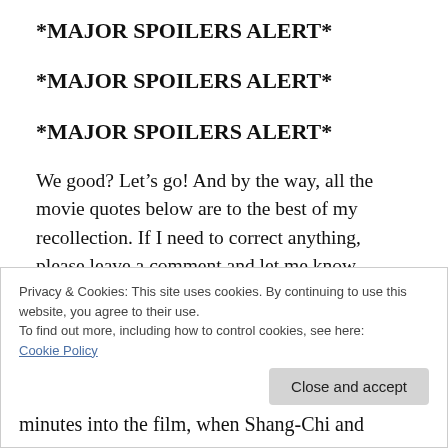*MAJOR SPOILERS ALERT*
*MAJOR SPOILERS ALERT*
*MAJOR SPOILERS ALERT*
We good? Let’s go! And by the way, all the movie quotes below are to the best of my recollection. If I need to correct anything, please leave a comment and let me know.
Privacy & Cookies: This site uses cookies. By continuing to use this website, you agree to their use.
To find out more, including how to control cookies, see here: Cookie Policy
minutes into the film, when Shang-Chi and